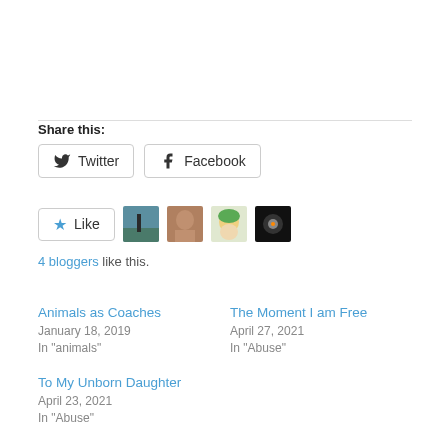Share this:
[Figure (other): Social share buttons: Twitter and Facebook]
[Figure (other): Like button with 4 blogger avatars]
4 bloggers like this.
Animals as Coaches
January 18, 2019
In "animals"
The Moment I am Free
April 27, 2021
In "Abuse"
To My Unborn Daughter
April 23, 2021
In "Abuse"